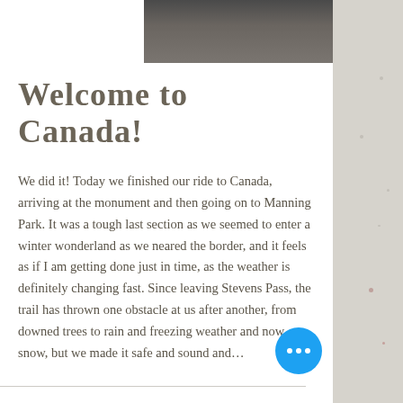[Figure (photo): Partial photograph showing a dirt/rocky trail surface, cropped at the top of the page]
Welcome to Canada!
We did it! Today we finished our ride to Canada, arriving at the monument and then going on to Manning Park. It was a tough last section as we seemed to enter a winter wonderland as we neared the border, and it feels as if I am getting done just in time, as the weather is definitely changing fast. Since leaving Stevens Pass, the trail has thrown one obstacle at us after another, from downed trees to rain and freezing weather and now snow, but we made it safe and sound and…